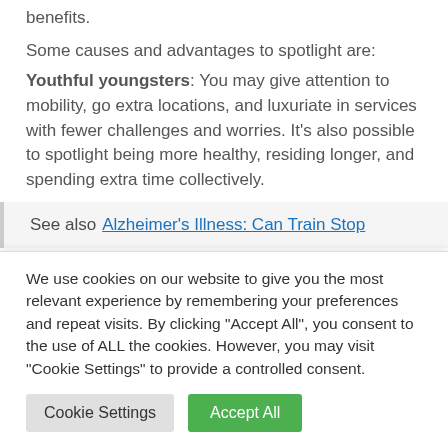benefits.
Some causes and advantages to spotlight are:
Youthful youngsters: You may give attention to mobility, go extra locations, and luxuriate in services with fewer challenges and worries. It’s also possible to spotlight being more healthy, residing longer, and spending extra time collectively.
See also  Alzheimer’s Illness: Can Train Stop
We use cookies on our website to give you the most relevant experience by remembering your preferences and repeat visits. By clicking “Accept All”, you consent to the use of ALL the cookies. However, you may visit "Cookie Settings" to provide a controlled consent.